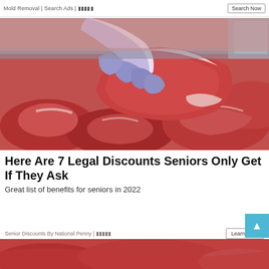Mold Removal | Search Ads | ▪▪▪▪▪
[Figure (photo): A butcher or deli worker wearing a blue latex glove lifting a large cut of raw beef/meat over a display case filled with various cuts of raw red meat. The setting appears to be a meat counter or butcher shop.]
Here Are 7 Legal Discounts Seniors Only Get If They Ask
Great list of benefits for seniors in 2022
Senior Discounts By National Penny | ▪▪▪▪▪
[Figure (photo): Bottom strip showing partial view of raw red meat, teaser for next article]